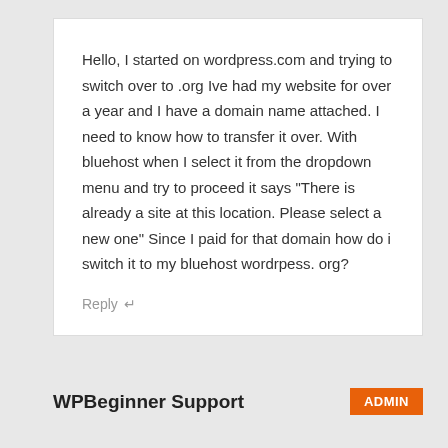Hello, I started on wordpress.com and trying to switch over to .org Ive had my website for over a year and I have a domain name attached. I need to know how to transfer it over. With bluehost when I select it from the dropdown menu and try to proceed it says “There is already a site at this location. Please select a new one” Since I paid for that domain how do i switch it to my bluehost wordrpess. org?
Reply
WPBeginner Support